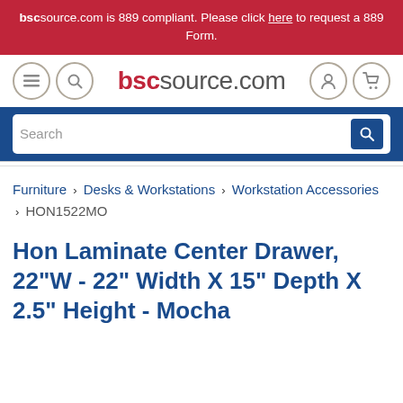bscsource.com is 889 compliant. Please click here to request a 889 Form.
[Figure (logo): bscsource.com logo with hamburger menu, search, account, and cart icons]
Search
Furniture > Desks & Workstations > Workstation Accessories > HON1522MO
Hon Laminate Center Drawer, 22"W - 22" Width X 15" Depth X 2.5" Height - Mocha